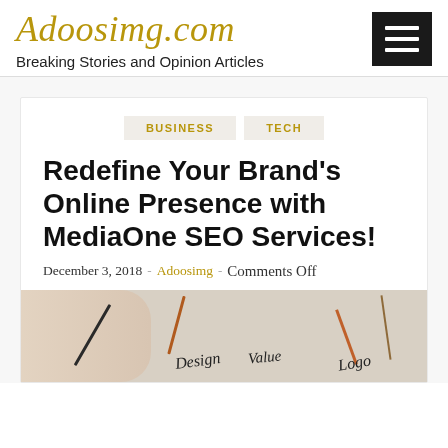Adoosimg.com
Breaking Stories and Opinion Articles
BUSINESS   TECH
Redefine Your Brand’s Online Presence with MediaOne SEO Services!
December 3, 2018 - Adoosimg - Comments Off
[Figure (photo): Photo of hands writing on paper with pencils and words like Design, Value, Logo written in script]